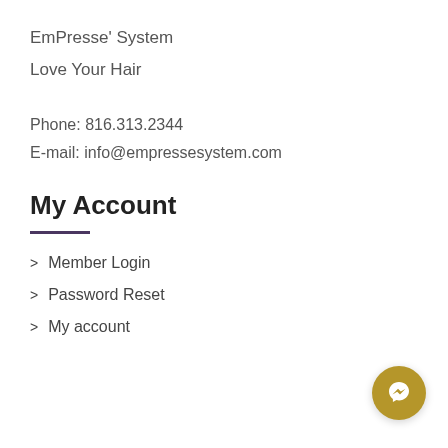EmPresse' System
Love Your Hair
Phone: 816.313.2344
E-mail: info@empressesystem.com
My Account
Member Login
Password Reset
My account
[Figure (illustration): Gold circular messenger chat button icon in bottom right corner]